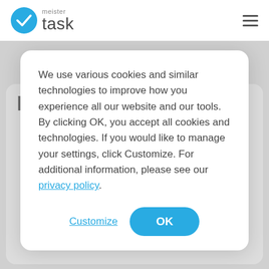[Figure (logo): MeisterTask logo: blue circle with white checkmark, beside 'meister' in small gray text above 'task' in large dark gray text]
project management
We use various cookies and similar technologies to improve how you experience all our website and our tools. By clicking OK, you accept all cookies and technologies. If you would like to manage your settings, click Customize. For additional information, please see our privacy policy.
Customize
OK